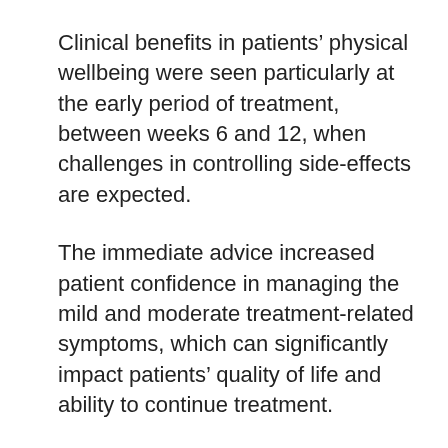Clinical benefits in patients' physical wellbeing were seen particularly at the early period of treatment, between weeks 6 and 12, when challenges in controlling side-effects are expected.
The immediate advice increased patient confidence in managing the mild and moderate treatment-related symptoms, which can significantly impact patients' quality of life and ability to continue treatment.
And trial data showed no increase of hospital workload, no differences in chemotherapy delivery, and no compromise of patient safety.